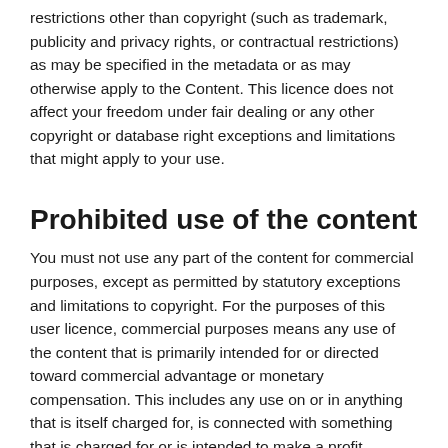restrictions other than copyright (such as trademark, publicity and privacy rights, or contractual restrictions) as may be specified in the metadata or as may otherwise apply to the Content. This licence does not affect your freedom under fair dealing or any other copyright or database right exceptions and limitations that might apply to your use.
Prohibited use of the content
You must not use any part of the content for commercial purposes, except as permitted by statutory exceptions and limitations to copyright. For the purposes of this user licence, commercial purposes means any use of the content that is primarily intended for or directed toward commercial advantage or monetary compensation. This includes any use on or in anything that is itself charged for, is connected with something that is charged for or is intended to make a profit.
Requests for high resolution digital images or other